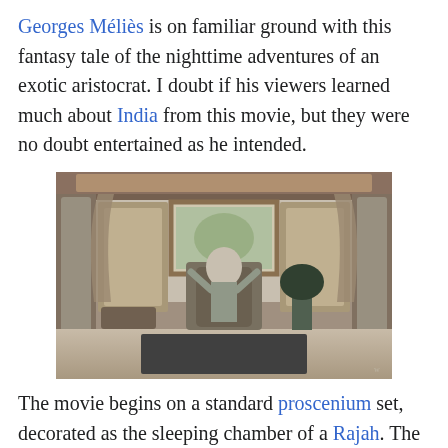Georges Méliès is on familiar ground with this fantasy tale of the nighttime adventures of an exotic aristocrat. I doubt if his viewers learned much about India from this movie, but they were no doubt entertained as he intended.
[Figure (photo): Black and white still from a Georges Méliès film showing an elaborately decorated stage set styled as an exotic Indian chamber, with a figure seated center stage surrounded by ornate props, pillars, and theatrical decorations.]
The movie begins on a standard proscenium set, decorated as the sleeping chamber of a Rajah. The Rajah